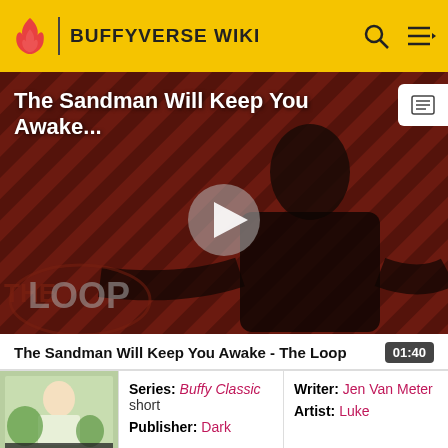BUFFYVERSE WIKI
[Figure (screenshot): Video thumbnail showing a figure in black against a diagonal stripe background with 'The Loop' text overlay and a play button]
The Sandman Will Keep You Awake - The Loop  01:40
[Figure (photo): Book cover image - Buffy Classic comic book cover]
| Field | Value | Field2 | Value2 |
| --- | --- | --- | --- |
| Series: | Buffy Classic short | Writer: | Jen Van Meter |
| Publisher: | Dark | Artist: | Luke |